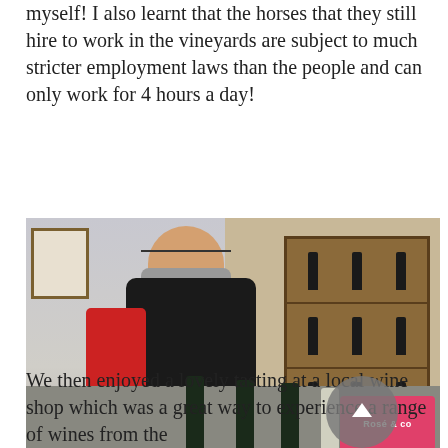myself! I also learnt that the horses that they still hire to work in the vineyards are subject to much stricter employment laws than the people and can only work for 4 hours a day!
[Figure (photo): A young man wearing glasses, a black vest, red hoodie, and gray scarf, standing at a counter with several wine bottles. Behind him is a wooden wine shelf display. A pink sign is visible in the lower right corner.]
We then enjoyed a lovely tasting at a local wine shop which was a great way to experience a range of wines from the